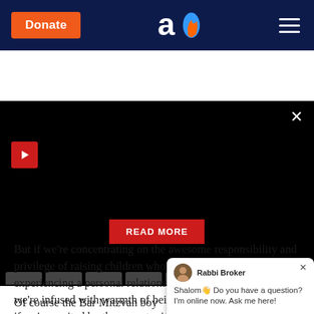Donate | Aish logo | Menu
[Figure (screenshot): Black video player area with red play button top-left, red READ MORE button centered, close X button top-right, and gray tab strip at bottom]
But if we're concentrating on the awesome responsibility and privilege of raising children who have the opportunity of experiencing a personal relationship with their Creator, if we're infused with warmth of being part of the Jewish people, if we're excited by the opportunity of fulfilling our people's mission in this world, then our childr
Of course the Bar Mitzvah boy must g